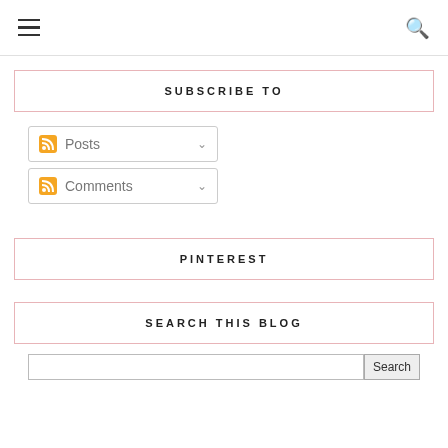☰   🔍
SUBSCRIBE TO
Posts
Comments
PINTEREST
SEARCH THIS BLOG